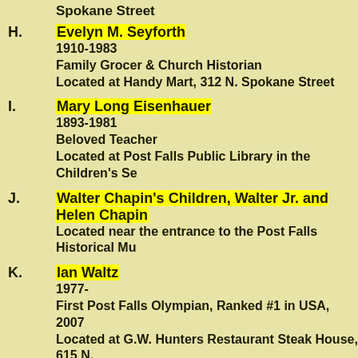Spokane Street
H. Evelyn M. Seyforth
1910-1983
Family Grocer & Church Historian
Located at Handy Mart, 312 N. Spokane Street
I. Mary Long Eisenhauer
1893-1981
Beloved Teacher
Located at Post Falls Public Library in the Children's Se
J. Walter Chapin's Children, Walter Jr. and Helen Chapin
Located near the entrance to the Post Falls Historical Mu
K. Ian Waltz
1977-
First Post Falls Olympian, Ranked #1 in USA, 2007
Located at G.W. Hunters Restaurant Steak House, 615 N.
L. Veterans Mural
A group of Post Falls veterans representing all major conf
Located on City Hall campus behind the museum
M. Robert and Mary Templin